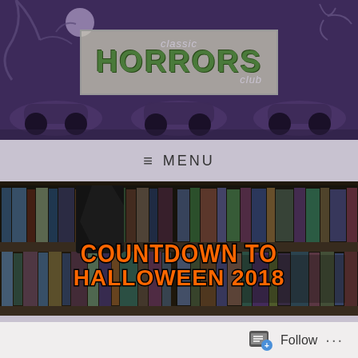[Figure (illustration): Classic Horrors Club website header banner with dark purple background, vintage cars silhouette, and central logo box reading 'classic HORRORS club' in stylized letters]
≡  MENU
[Figure (photo): Bookshelves filled with DVDs/Blu-rays with overlaid orange text reading 'COUNTDOWN TO HALLOWEEN 2018']
October 23, 2018 by classichorrors
Follow ...